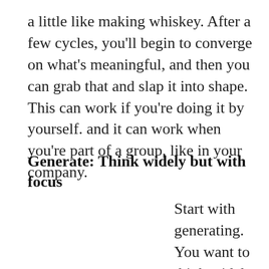a little like making whiskey. After a few cycles, you'll begin to converge on what's meaningful, and then you can grab that and slap it into shape. This can work if you're doing it by yourself. and it can work when you're part of a group, like in your company.
Generate: Think widely but with focus
Start with generating. You want to think widely,